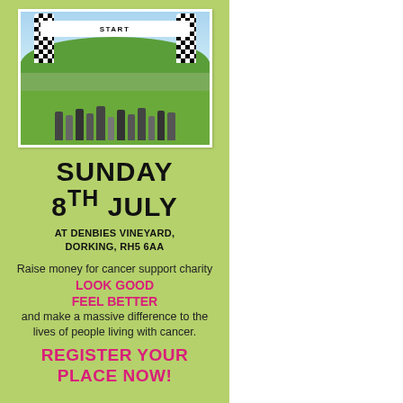[Figure (photo): Photograph of a group of people standing under a 'START' arch with black and white checkered pattern, at an outdoor charity walk/run event with green hills in the background.]
SUNDAY 8TH JULY
AT DENBIES VINEYARD, DORKING, RH5 6AA
Raise money for cancer support charity LOOK GOOD FEEL BETTER and make a massive difference to the lives of people living with cancer.
REGISTER YOUR PLACE NOW!